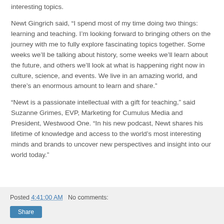interesting topics.
Newt Gingrich said, “I spend most of my time doing two things: learning and teaching. I’m looking forward to bringing others on the journey with me to fully explore fascinating topics together. Some weeks we’ll be talking about history, some weeks we’ll learn about the future, and others we’ll look at what is happening right now in culture, science, and events. We live in an amazing world, and there’s an enormous amount to learn and share.”
“Newt is a passionate intellectual with a gift for teaching,” said Suzanne Grimes, EVP, Marketing for Cumulus Media and President, Westwood One. “In his new podcast, Newt shares his lifetime of knowledge and access to the world’s most interesting minds and brands to uncover new perspectives and insight into our world today.”
Posted 4:41:00 AM   No comments: